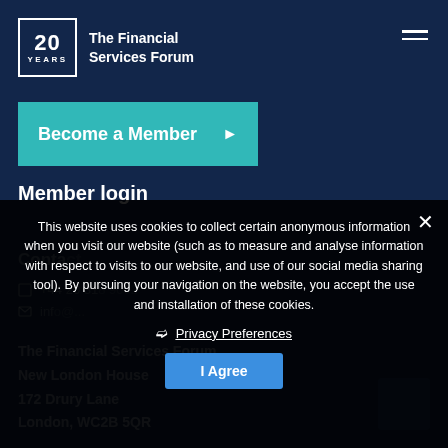[Figure (logo): The Financial Services Forum 20 Years logo — white square border with '20' large and 'YEARS' below, next to text 'The Financial Services Forum']
Become a Member ▶
Member login
Contact
+44 20 7182 9001
info@...
The Financial Services Forum
New London House
172 Drury Lane
London, WC2B 5QR
This website uses cookies to collect certain anonymous information when you visit our website (such as to measure and analyse information with respect to visits to our website, and use of our social media sharing tool). By pursuing your navigation on the website, you accept the use and installation of these cookies.
❯ Privacy Preferences
I Agree